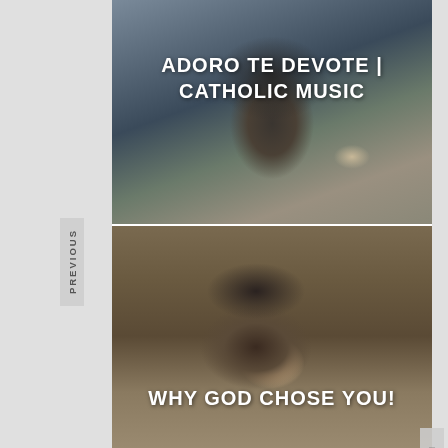[Figure (photo): Young man wearing headphones near a microphone, in a recording studio setting. Black and white tones with warm background.]
ADORO TE DEVOTE | CATHOLIC MUSIC
[Figure (photo): Person with hands clasped together in prayer near their face, wearing dark jacket and plaid shirt.]
WHY GOD CHOSE YOU!